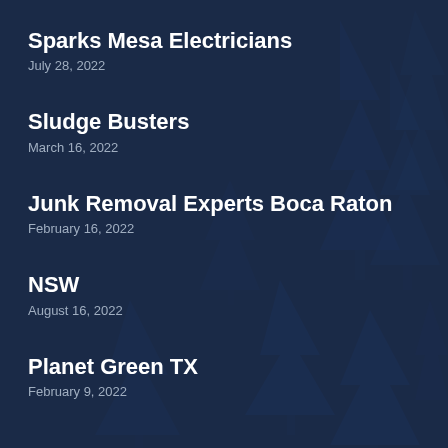Sparks Mesa Electricians
July 28, 2022
Sludge Busters
March 16, 2022
Junk Removal Experts Boca Raton
February 16, 2022
NSW
August 16, 2022
Planet Green TX
February 9, 2022